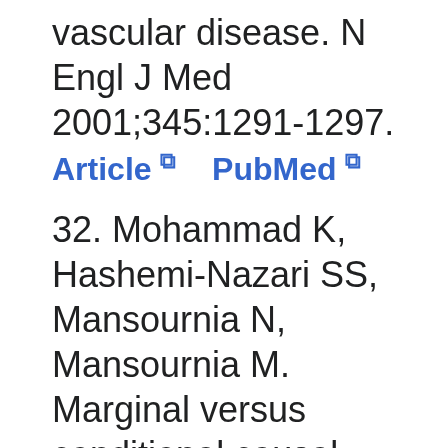vascular disease. N Engl J Med 2001;345:1291-1297. Article  PubMed
32. Mohammad K, Hashemi-Nazari SS, Mansournia N, Mansournia M. Marginal versus conditional causal effects. J Biostat Epidemiol 2015;1:121-128.
33. Gharibzadeh S, Moham